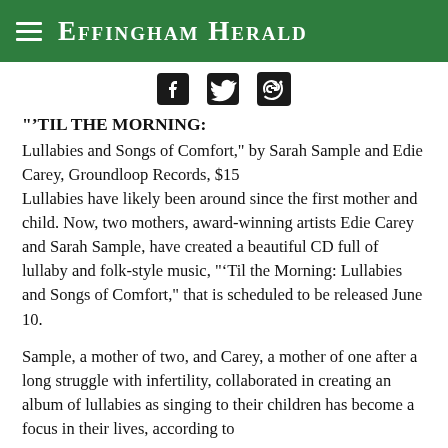Effingham Herald
[Figure (other): Social media share icons: Facebook, Twitter, and link/chain icon]
"'TIL THE MORNING:
Lullabies and Songs of Comfort," by Sarah Sample and Edie Carey, Groundloop Records, $15
Lullabies have likely been around since the first mother and child. Now, two mothers, award-winning artists Edie Carey and Sarah Sample, have created a beautiful CD full of lullaby and folk-style music, "'Til the Morning: Lullabies and Songs of Comfort," that is scheduled to be released June 10.
Sample, a mother of two, and Carey, a mother of one after a long struggle with infertility, collaborated in creating an album of lullabies as singing to their children has become a focus in their lives, according to